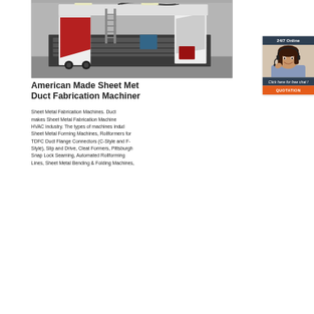[Figure (photo): Industrial sheet metal duct fabrication machine with red and white body, large CNC bed, in a factory setting]
[Figure (infographic): 24/7 Online chat widget with a smiling female customer service agent wearing a headset, dark navy header, orange QUOTATION button]
American Made Sheet Metal Duct Fabrication Machinery
Sheet Metal Fabrication Machines. Duct makes Sheet Metal Fabrication Machines HVAC industry. The types of machines include Sheet Metal Forming Machines, Rollformers for TDFC Duct Flange Connectors (C-Style and F-Style), Slip and Drive, Cleat Formers, Pittsburgh Snap Lock Seaming, Automated Rollforming Lines, Sheet Metal Bending & Folding Machines,